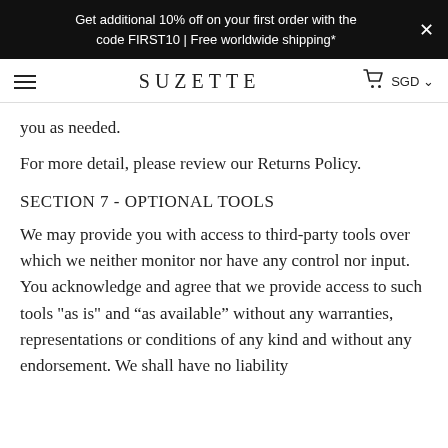Get additional 10% off on your first order with the code FIRST10 | Free worldwide shipping*
SUZETTE
you as needed.
For more detail, please review our Returns Policy.
SECTION 7 - OPTIONAL TOOLS
We may provide you with access to third-party tools over which we neither monitor nor have any control nor input.
You acknowledge and agree that we provide access to such tools "as is" and “as available” without any warranties, representations or conditions of any kind and without any endorsement. We shall have no liability